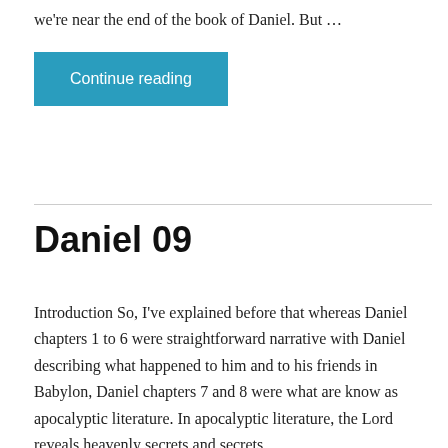we're near the end of the book of Daniel. But …
Continue reading
Daniel 09
Introduction So, I've explained before that whereas Daniel chapters 1 to 6 were straightforward narrative with Daniel describing what happened to him and to his friends in Babylon, Daniel chapters 7 and 8 were what are know as apocalyptic literature. In apocalyptic literature, the Lord reveals heavenly secrets and secrets